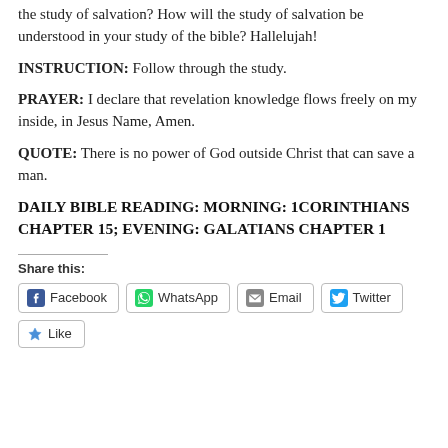the study of salvation? How will the study of salvation be understood in your study of the bible? Hallelujah!
INSTRUCTION: Follow through the study.
PRAYER: I declare that revelation knowledge flows freely on my inside, in Jesus Name, Amen.
QUOTE: There is no power of God outside Christ that can save a man.
DAILY BIBLE READING: MORNING: 1CORINTHIANS CHAPTER 15; EVENING: GALATIANS CHAPTER 1
Share this:
Facebook | WhatsApp | Email | Twitter
Like